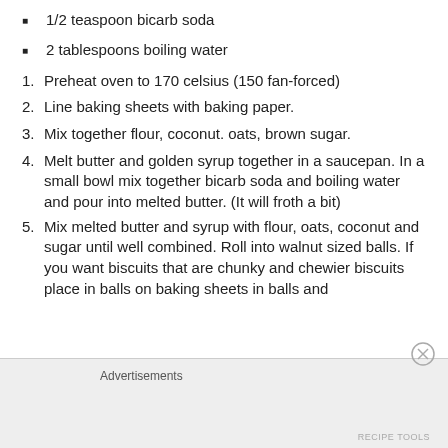1/2 teaspoon bicarb soda
2 tablespoons boiling water
Preheat oven to 170 celsius (150 fan-forced)
Line baking sheets with baking paper.
Mix together flour, coconut. oats, brown sugar.
Melt butter and golden syrup together in a saucepan. In a small bowl mix together bicarb soda and boiling water and pour into melted butter. (It will froth a bit)
Mix melted butter and syrup with flour, oats, coconut and sugar until well combined. Roll into walnut sized balls. If you want biscuits that are chunky and chewier biscuits place in balls on baking sheets in balls and
Advertisements